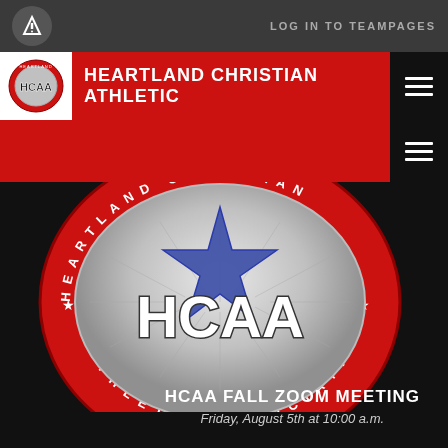LOG IN TO TEAMPAGES
HEARTLAND CHRISTIAN ATHLETIC
[Figure (logo): HCAA Heartland Christian Athletic Association circular logo with red border, silver oval, blue star, and HCAA text]
HCAA FALL ZOOM MEETING
Friday, August 5th at 10:00 a.m.